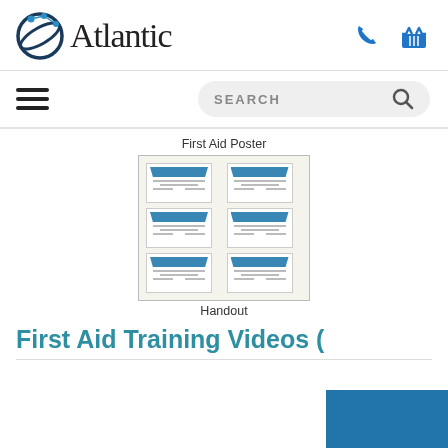[Figure (logo): Atlantic logo with circular globe icon and text 'Atlantic']
[Figure (screenshot): Phone icon (blue) and shopping basket icon (blue) in header]
[Figure (other): Hamburger menu icon (three horizontal lines)]
[Figure (other): Search bar with text SEARCH and magnifier icon]
First Aid Poster
[Figure (illustration): Grid of 6 first aid certificate cards arranged 2x3, showing blue ribbon banner and lines for text]
Handout
First Aid Training Videos (
[Figure (other): Blue rectangle at bottom right, partially visible]